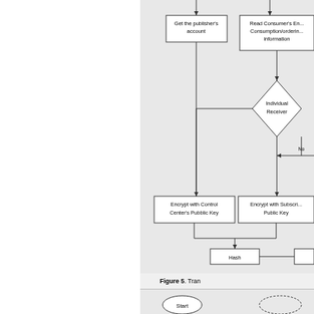[Figure (flowchart): Partial flowchart showing: Get the publisher's account box, Read Consumer's Energy Consumption/ordering information box, Individual Receiver diamond with No branch, Encrypt with Control Center's Pubblic Key box, Encrypt with Subscriber Public Key box, Hash box, with connecting arrows.]
Figure 5. Tran
[Figure (flowchart): Bottom partial flowchart showing Start oval and another partially visible element.]